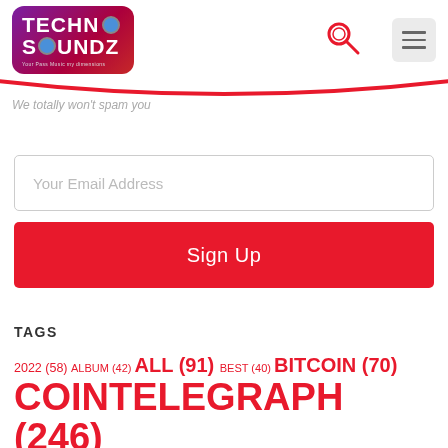[Figure (logo): TechnoSoundZ logo with gradient purple-red background and white text]
We totally won't spam you
Your Email Address
Sign Up
TAGS
2022 (58) ALBUM (42) ALL (91) BEST (40) BITCOIN (70) COINTELEGRAPH (246) CRYPTOCURRENCIES (65) DANCE (40) DIGITAL (48) DJ